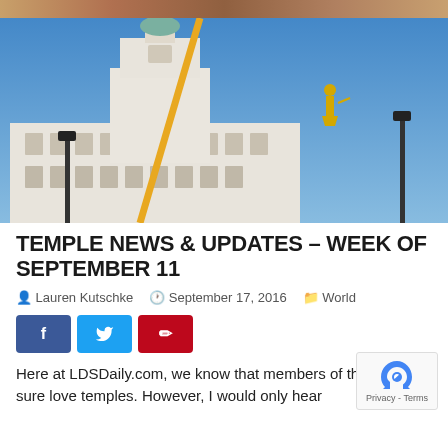[Figure (photo): Photograph of an LDS temple under construction with a blue sky background. A crane arm is visible, and a golden Moroni statue appears to be suspended in the air to the right. Street lamps are visible on both sides.]
TEMPLE NEWS & UPDATES – WEEK OF SEPTEMBER 11
Lauren Kutschke  September 17, 2016  World
Here at LDSDaily.com, we know that members of the church sure love temples. However, I would only hear